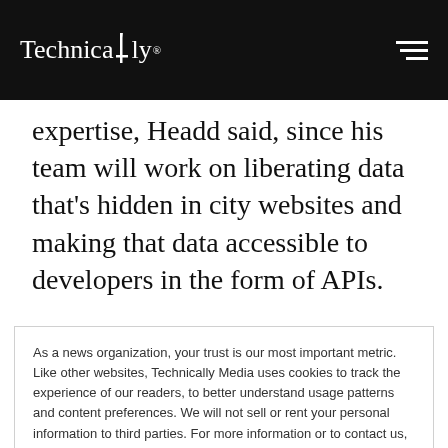Technically
expertise, Headd said, since his team will work on liberating data that’s hidden in city websites and making that data accessible to developers in the form of APIs.
In other words, city websites are a treasure trove of data but that data is not in any developer-friendly
As a news organization, your trust is our most important metric. Like other websites, Technically Media uses cookies to track the experience of our readers, to better understand usage patterns and content preferences. We will not sell or rent your personal information to third parties. For more information or to contact us, read our entire Ethics & Privacy Policy.
Close